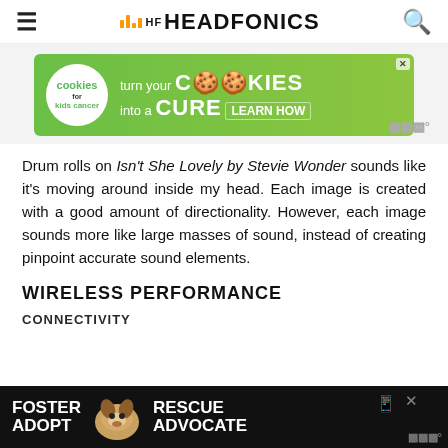HEADFONICS
[Figure (screenshot): Cookies for Kids Cancer advertisement banner - green background with text 'turn your COOKIES into a CURE LEARN HOW']
Drum rolls on Isn't She Lovely by Stevie Wonder sounds like it's moving around inside my head. Each image is created with a good amount of directionality. However, each image sounds more like large masses of sound, instead of creating pinpoint accurate sound elements.
WIRELESS PERFORMANCE
CONNECTIVITY
[Figure (screenshot): Foster Adopt Rescue Advocate advertisement with dog image on dark background]